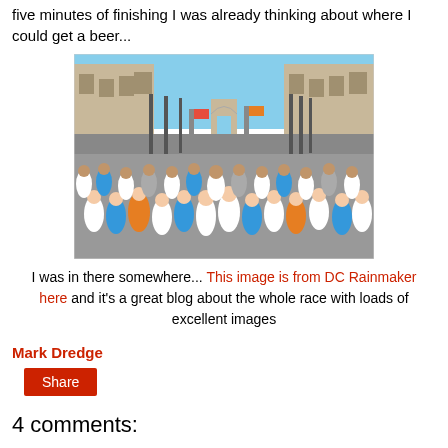five minutes of finishing I was already thinking about where I could get a beer...
[Figure (photo): Large crowd of marathon runners on a wide city boulevard with buildings on both sides and an arch visible in the distance. Sky is blue and trees are bare.]
I was in there somewhere... This image is from DC Rainmaker here and it's a great blog about the whole race with loads of excellent images
Mark Dredge
Share
4 comments: